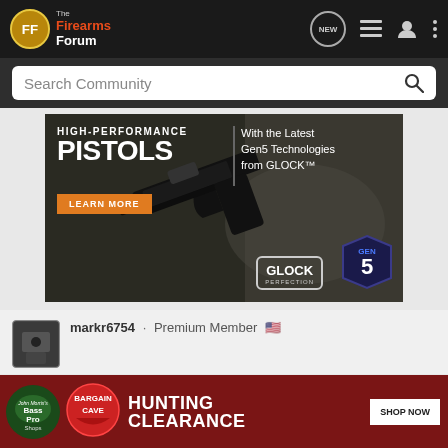[Figure (screenshot): The Firearms Forum website header navigation bar with logo, NEW chat bubble icon, list icon, user icon, and menu dots on dark background]
[Figure (screenshot): Search Community search bar with magnifying glass icon on dark grey background]
[Figure (photo): GLOCK advertisement banner: HIGH-PERFORMANCE PISTOLS with the Latest Gen5 Technologies from GLOCK. Shows a black Glock pistol on tactical gear background. Orange LEARN MORE button. GLOCK PERFECTION and GEN 5 logos at bottom right.]
markr6754 · Premium Member 🇺🇸
[Figure (screenshot): Bass Pro Shops advertisement: BARGAIN CAVE - HUNTING CLEARANCE - SHOP NOW button on dark red background]